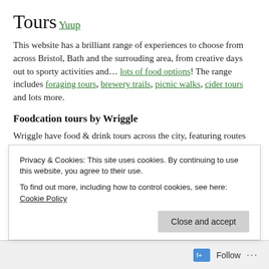Tours
Yuup
This website has a brilliant range of experiences to choose from across Bristol, Bath and the surrouding area, from creative days out to sporty activities and… lots of food options! The range includes foraging tours, brewery trails, picnic walks, cider tours and lots more.
Foodcation tours by Wriggle
Wriggle have food & drink tours across the city, featuring routes around the harbourside, Clifton, Easton and St
Privacy & Cookies: This site uses cookies. By continuing to use this website, you agree to their use.
To find out more, including how to control cookies, see here: Cookie Policy
Close and accept
Follow ...